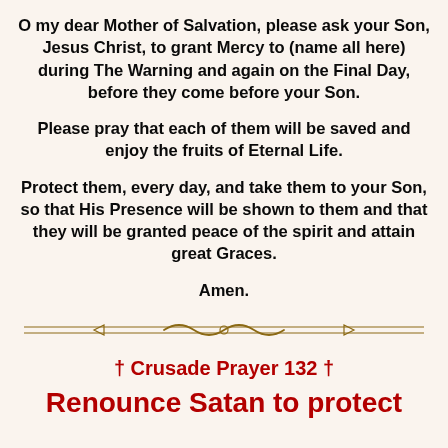O my dear Mother of Salvation, please ask your Son, Jesus Christ, to grant Mercy to (name all here) during The Warning and again on the Final Day, before they come before your Son.
Please pray that each of them will be saved and enjoy the fruits of Eternal Life.
Protect them, every day, and take them to your Son, so that His Presence will be shown to them and that they will be granted peace of the spirit and attain great Graces.
Amen.
[Figure (illustration): Decorative horizontal divider with ornamental scroll design in golden/dark yellow color]
† Crusade Prayer 132 †
Renounce Satan to protect